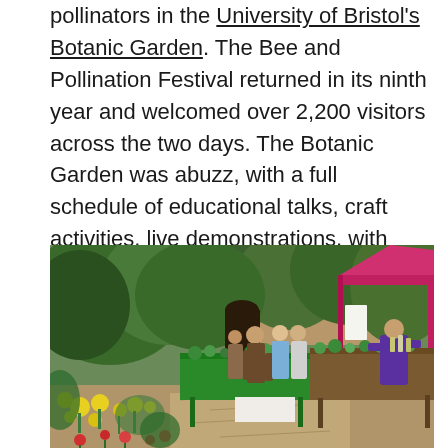pollinators in the University of Bristol's Botanic Garden. The Bee and Pollination Festival returned in its ninth year and welcomed over 2,200 visitors across the two days. The Botanic Garden was abuzz, with a full schedule of educational talks, craft activities, live demonstrations, with plants and produce to browse and take home.
[Figure (photo): Outdoor scene at the University of Bristol's Botanic Garden during the Bee and Pollination Festival. Visitors browse plant stalls with green and wooden tables covered in plants. A bright pink/red marquee tent is visible on the right side. A man in a purple shirt tends to a plant stall. Yellow and red flowers line the foreground pathway. Stone building visible in the background surrounded by dense green trees.]